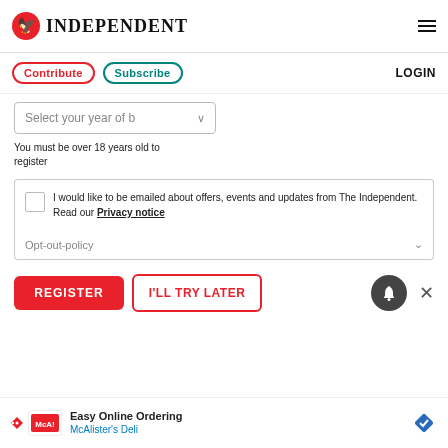INDEPENDENT
Contribute  Subscribe  LOGIN
Select your year of b
You must be over 18 years old to register
I would like to be emailed about offers, events and updates from The Independent. Read our Privacy notice
Opt-out-policy
REGISTER    I'LL TRY LATER
Easy Online Ordering McAlister's Deli